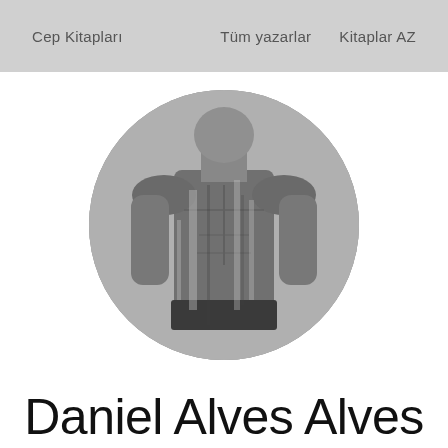Cep Kitapları    Tüm yazarlar    Kitaplar AZ
[Figure (photo): Circular cropped black and white photo of a shirtless muscular man from torso up, slightly blurred/glitched effect]
Daniel Alves Alves